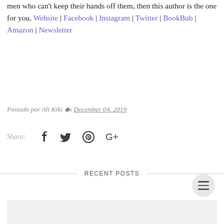men who can't keep their hands off them, then this author is the one for you. Website | Facebook | Instagram | Twitter | BookBub | Amazon | Newsletter
Postado por Ali Kiki ◆s December 04, 2019
Share: [Facebook] [Twitter] [Pinterest] [Google+]
RECENT POSTS
[Figure (photo): Gray placeholder image area below Recent Posts section]